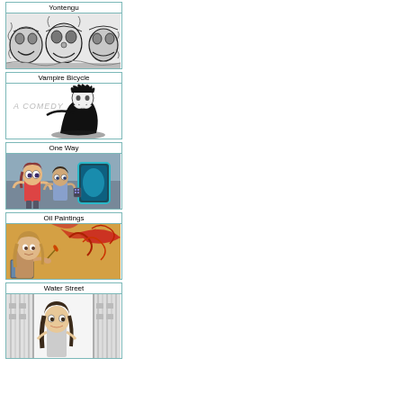[Figure (illustration): Card with title 'Yontengu' and black-and-white illustration of stylized mask-like faces with intricate patterns]
[Figure (illustration): Card with title 'Vampire Bicycle' and black-and-white illustration of a comedic vampire character with 'A COMEDY' text]
[Figure (illustration): Card with title 'One Way' and animated-style illustration of two cartoon characters near a futuristic door]
[Figure (photo): Card with title 'Oil Paintings' and photo of a woman painting]
[Figure (illustration): Card with title 'Water Street' and black-and-white illustration of a woman in an urban street scene]